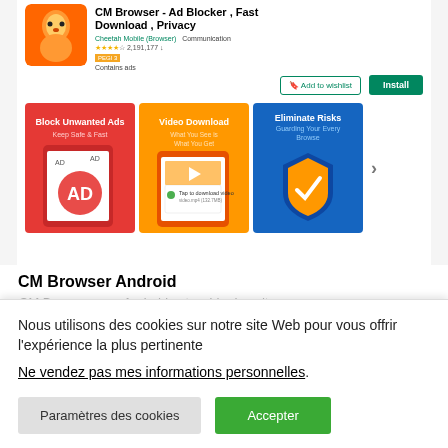[Figure (screenshot): Google Play Store listing for CM Browser - Ad Blocker, Fast Download, Privacy app. Shows app icon (orange with cheetah), title, developer name Cheetah Mobile (Browser), Communication category, star rating 4+ with 2,191,177 ratings, PEGI 3 badge, Contains ads label, Add to wishlist and Install buttons, and three promotional screenshots showing Block Unwanted Ads, Video Download, and Eliminate Risks features, with a right navigation arrow.]
CM Browser Android
CM Browser pour Android est — Lire la suite
Nous utilisons des cookies sur notre site Web pour vous offrir l'expérience la plus pertinente
Ne vendez pas mes informations personnelles.
Paramètres des cookies
Accepter